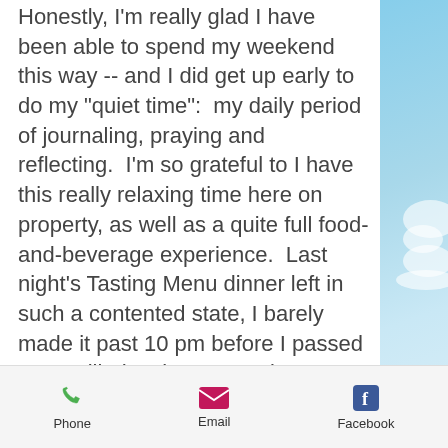Honestly, I'm really glad I have been able to spend my weekend this way -- and I did get up early to do my "quiet time":  my daily period of journaling, praying and reflecting.  I'm so grateful to I have this really relaxing time here on property, as well as a quite full food-and-beverage experience.  Last night's Tasting Menu dinner left in such a contented state, I barely made it past 10 pm before I passed out.  Still, despite my previous evening's gluttony, I woke up craving more food and was sitting down to breakfast by 8:30 am.
Whether you eat breakfast or not, the inn has plenty of coffee and tea for you
Phone  Email  Facebook